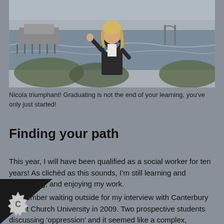[Figure (photo): A woman in graduation cap and gown standing on a beach with a pier visible in the background, looking upward with arms raised. Black and white coastal scene.]
Nicola triumphant! Graduating is not the end of your learning, you've only just started!
Finding your path
This year, I will have been qualified as a social worker for ten years! As clichéd as this sounds, I'm still learning and developing, and enjoying my work.
I remember waiting outside for my interview with Canterbury Christ Church University in 2009. Two prospective students discussing 'oppression' and it seemed like a complex, concept I'd never heard of.